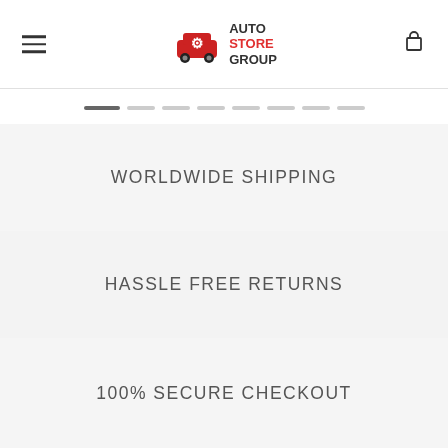Auto Store Group — Navigation header with logo, menu icon, and cart icon
[Figure (other): Carousel pagination dots — one active dark dot followed by seven lighter dots]
WORLDWIDE SHIPPING
HASSLE FREE RETURNS
100% SECURE CHECKOUT